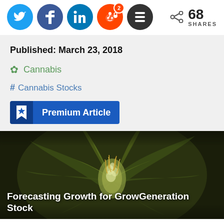[Figure (screenshot): Social media share buttons: Twitter, Facebook, LinkedIn, Reddit (2), Buffer, and share count of 68 SHARES]
Published: March 23, 2018
Cannabis
Cannabis Stocks
Premium Article
[Figure (photo): Close-up photo of a cannabis plant bud with leaves in dark background]
Forecasting Growth for GrowGeneration Stock